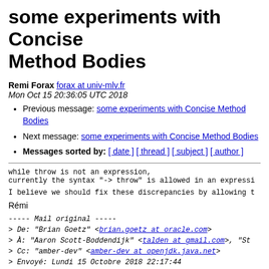some experiments with Concise Method Bodies
Remi Forax forax at univ-mlv.fr
Mon Oct 15 20:36:05 UTC 2018
Previous message: some experiments with Concise Method Bodies
Next message: some experiments with Concise Method Bodies
Messages sorted by: [ date ] [ thread ] [ subject ] [ author ]
while throw is not an expression,
currently the syntax "-> throw" is allowed in an expressi
I believe we should fix these discrepancies by allowing t
Rémi
----- Mail original -----
> De: "Brian Goetz" <brian.goetz at oracle.com>
> À: "Aaron Scott-Boddendijk" <talden at gmail.com>, "St
> Cc: "amber-dev" <amber-dev at openjdk.java.net>
> Envoyé: Lundi 15 Octobre 2018 22:17:44